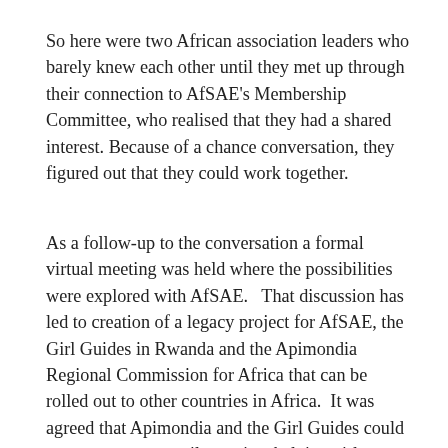So here were two African association leaders who barely knew each other until they met up through their connection to AfSAE's Membership Committee, who realised that they had a shared interest. Because of a chance conversation, they figured out that they could work together.
As a follow-up to the conversation a formal virtual meeting was held where the possibilities were explored with AfSAE.   That discussion has led to creation of a legacy project for AfSAE, the Girl Guides in Rwanda and the Apimondia Regional Commission for Africa that can be rolled out to other countries in Africa.  It was agreed that Apimondia and the Girl Guides could partner to set up a pilot project helping girls engage in beekeeping as an income-generating activity.  If it works, the Girl Guides can develop a